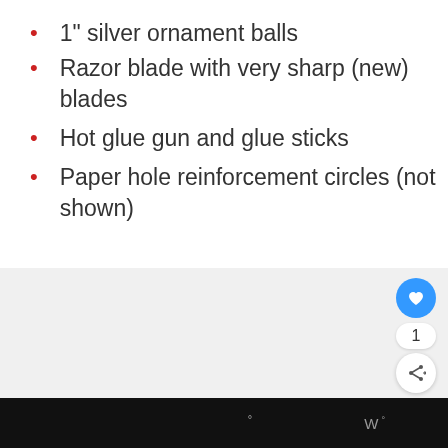1” silver ornament balls
Razor blade with very sharp (new) blades
Hot glue gun and glue sticks
Paper hole reinforcement circles (not shown)
[Figure (screenshot): Gray content area with like button (heart icon, blue circle), like count (1), share button, and a 'What's Next' card showing a DIY Marquee Sign thumbnail and text 'DIY Marquee Sign with LE...']
W°